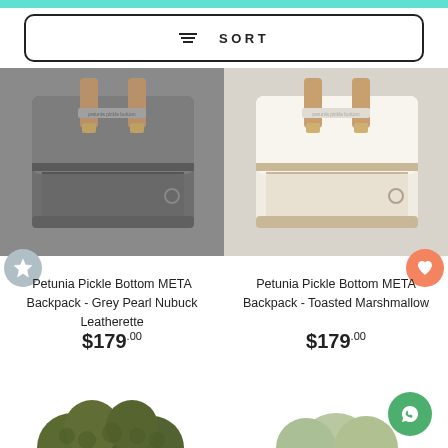SORT
[Figure (photo): Grey backpack product photo - Petunia Pickle Bottom META Backpack Grey Pearl Nubuck Leatherette]
[Figure (photo): White/cream backpack product photo - Petunia Pickle Bottom META Backpack Toasted Marshmallow]
Petunia Pickle Bottom META Backpack - Grey Pearl Nubuck Leatherette
$179.00
Petunia Pickle Bottom META Backpack - Toasted Marshmallow
$179.00
[Figure (photo): Dark olive green plush/velvet ball cluster toy, partially visible at bottom of page]
[Figure (photo): Light green plush ball, partially visible at bottom right of page]